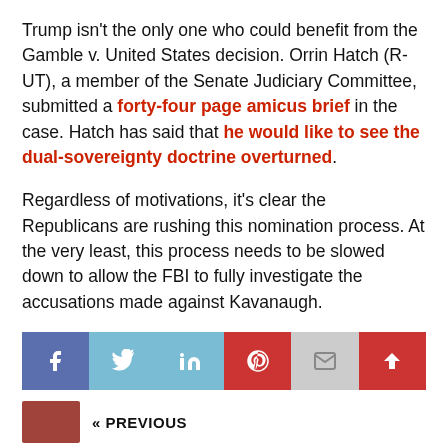Trump isn't the only one who could benefit from the Gamble v. United States decision. Orrin Hatch (R-UT), a member of the Senate Judiciary Committee, submitted a forty-four page amicus brief in the case. Hatch has said that he would like to see the dual-sovereignty doctrine overturned.
Regardless of motivations, it's clear the Republicans are rushing this nomination process. At the very least, this process needs to be slowed down to allow the FBI to fully investigate the accusations made against Kavanaugh.
Thanks for reading, and don't forget to bookmark Front Page Politics for the latest political news!
[Figure (other): Social share bar with Facebook, Twitter, LinkedIn, Pinterest, Email, and scroll-to-top buttons]
« PREVIOUS